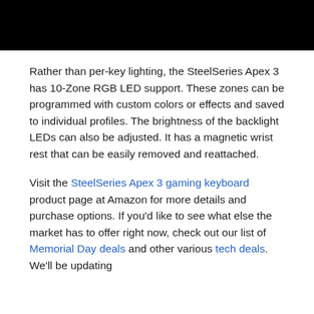[Figure (photo): Black rectangle image at top of page]
Rather than per-key lighting, the SteelSeries Apex 3 has 10-Zone RGB LED support. These zones can be programmed with custom colors or effects and saved to individual profiles. The brightness of the backlight LEDs can also be adjusted. It has a magnetic wrist rest that can be easily removed and reattached.
Visit the SteelSeries Apex 3 gaming keyboard product page at Amazon for more details and purchase options. If you’d like to see what else the market has to offer right now, check out our list of Memorial Day deals and other various tech deals. We’ll be updating the list as the day comes...